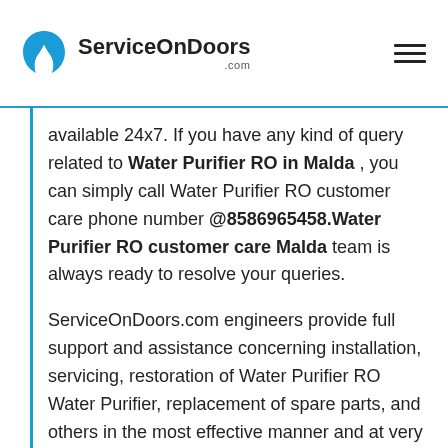ServiceOnDoors.com
available 24x7. If you have any kind of query related to Water Purifier RO in Malda , you can simply call Water Purifier RO customer care phone number @8586965458.Water Purifier RO customer care Malda team is always ready to resolve your queries.
ServiceOnDoors.com engineers provide full support and assistance concerning installation, servicing, restoration of Water Purifier RO Water Purifier, replacement of spare parts, and others in the most effective manner and at very reasonable service charges for Water Purifier RO service in Malda in compliance with industry requirements